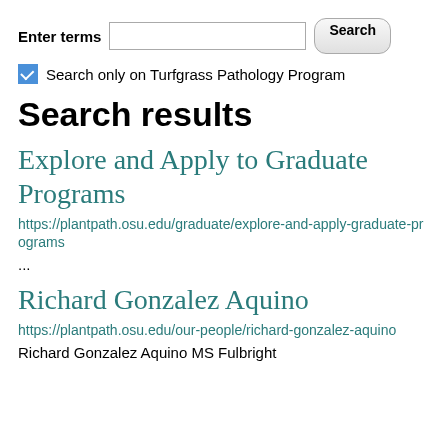Enter terms [search input] Search
Search only on Turfgrass Pathology Program
Search results
Explore and Apply to Graduate Programs
https://plantpath.osu.edu/graduate/explore-and-apply-graduate-programs
...
Richard Gonzalez Aquino
https://plantpath.osu.edu/our-people/richard-gonzalez-aquino
Richard Gonzalez Aquino MS Fulbright